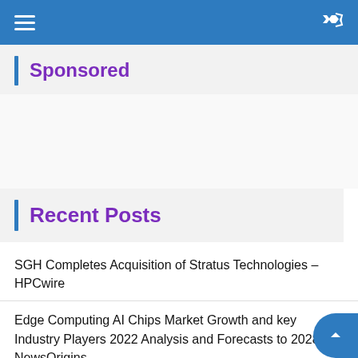Navigation bar with hamburger menu and shuffle icon
Sponsored
Recent Posts
SGH Completes Acquisition of Stratus Technologies – HPCwire
Edge Computing AI Chips Market Growth and key Industry Players 2022 Analysis and Forecasts to 2028 – NewsOrigins
NTT unveils what it calls the 'first edge and private 5G' service – VentureBeat